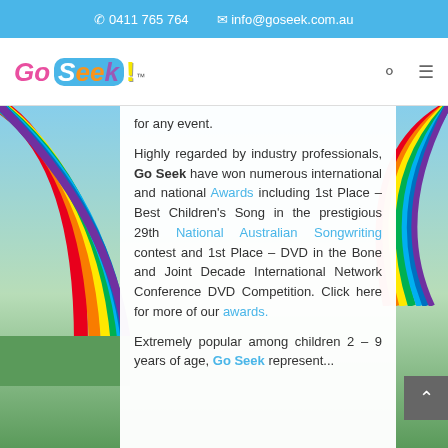0411 765 764   info@goseek.com.au
[Figure (logo): Go Seek! colorful children's logo with pink, blue, orange, purple letters and yellow exclamation mark]
for any event.
Highly regarded by industry professionals, Go Seek have won numerous international and national Awards including 1st Place – Best Children's Song in the prestigious 29th National Australian Songwriting contest and 1st Place – DVD in the Bone and Joint Decade International Network Conference DVD Competition. Click here for more of our awards.
Extremely popular among children 2 – 9 years of age, Go Seek represent...